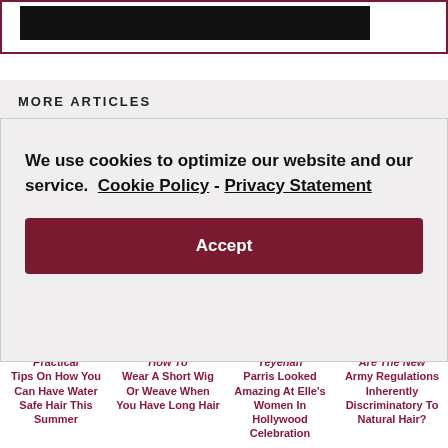[Figure (other): Black banner/header image at the top of a web page, partially visible]
MORE ARTICLES
We use cookies to optimize our website and our service.  Cookie Policy - Privacy Statement
Accept
Practical Tips On How You Can Have Water Safe Hair This Summer
How To Wear A Short Wig Or Weave When You Have Long Hair
Yeyehan Parris Looked Amazing At Elle's Women In Hollywood Celebration
Are The New Army Regulations Inherently Discriminatory To Natural Hair?